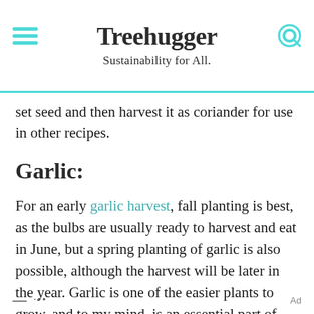Treehugger
Sustainability for All.
set seed and then harvest it as coriander for use in other recipes.
Garlic:
For an early garlic harvest, fall planting is best, as the bulbs are usually ready to harvest and eat in June, but a spring planting of garlic is also possible, although the harvest will be later in the year. Garlic is one of the easier plants to grow, and to my mind, is an essential part of any salsa recipe.
— ·••  Ad